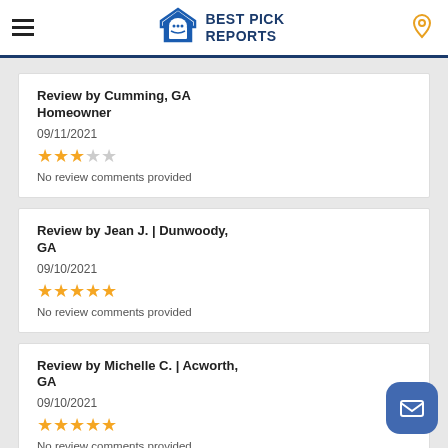BEST PICK REPORTS
Review by Cumming, GA Homeowner
09/11/2021
★★★☆☆
No review comments provided
Review by Jean J. | Dunwoody, GA
09/10/2021
★★★★★
No review comments provided
Review by Michelle C. | Acworth, GA
09/10/2021
★★★★★
No review comments provided